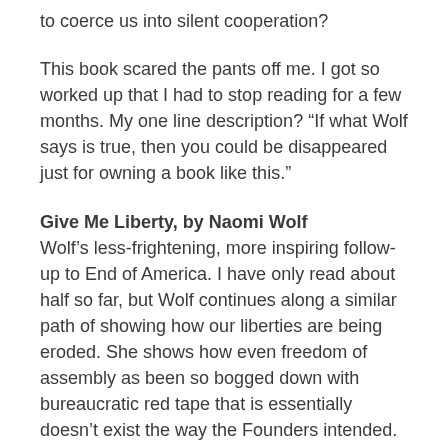to coerce us into silent cooperation?
This book scared the pants off me. I got so worked up that I had to stop reading for a few months. My one line description? “If what Wolf says is true, then you could be disappeared just for owning a book like this.”
Give Me Liberty, by Naomi Wolf
Wolf’s less-frightening, more inspiring follow-up to End of America. I have only read about half so far, but Wolf continues along a similar path of showing how our liberties are being eroded. She shows how even freedom of assembly as been so bogged down with bureaucratic red tape that is essentially doesn’t exist the way the Founders intended. She shows how difficult – if not impossible – it is for an average citizen to truly participate in